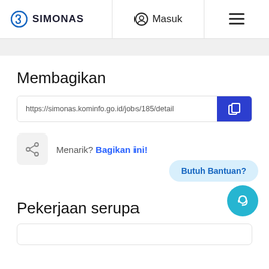SIMONAS | Masuk | ≡
Membagikan
https://simonas.kominfo.go.id/jobs/185/detail
Menarik? Bagikan ini!
Butuh Bantuan?
Pekerjaan serupa